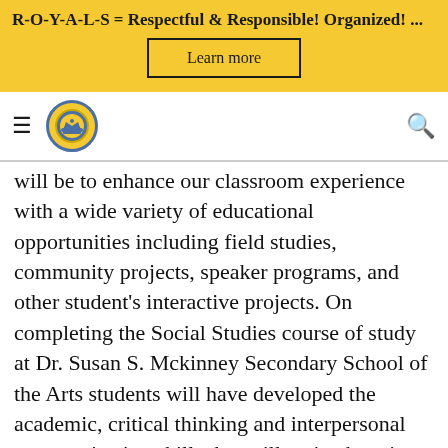R-O-Y-A-L-S = Respectful & Responsible! Organized! ...
[Figure (other): Learn more button in yellow banner]
[Figure (logo): School navigation bar with hamburger menu, school crest logo, and search icon]
will be to enhance our classroom experience with a wide variety of educational opportunities including field studies, community projects, speaker programs, and other student's interactive projects. On completing the Social Studies course of study at Dr. Susan S. Mckinney Secondary School of the Arts students will have developed the academic, critical thinking and interpersonal communication skills that will assist them in becoming responsible and productive citizens in their communities